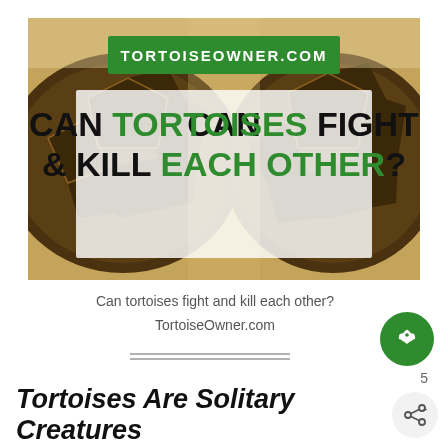[Figure (photo): Two tortoises facing each other showing their shells, with a white semi-transparent overlay containing large text 'CAN TORTOISES FIGHT & KILL EACH OTHER?' and a green banner at top reading 'TORTOISEOWNER.COM']
Can tortoises fight and kill each other?
TortoiseOwner.com
Tortoises Are Solitary Creatures